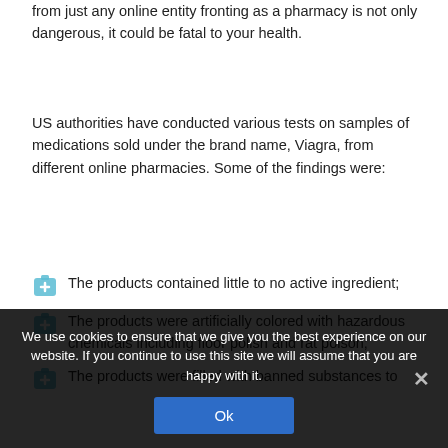from just any online entity fronting as a pharmacy is not only dangerous, it could be fatal to your health.
US authorities have conducted various tests on samples of medications sold under the brand name, Viagra, from different online pharmacies. Some of the findings were:
The products contained little to no active ingredient;
The products were artificially colored with hazardous chemicals including floor polish and rat poison;
The products were filled with banned substances to
We use cookies to ensure that we give you the best experience on our website. If you continue to use this site we will assume that you are happy with it.